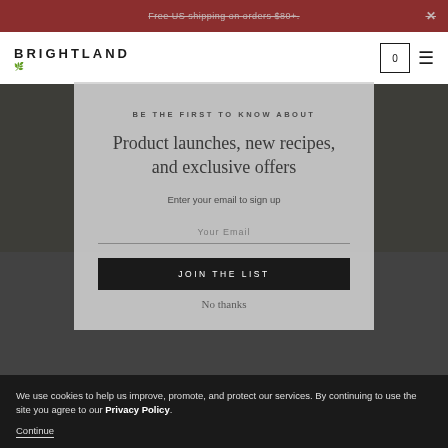Free US shipping on orders $80+.
[Figure (logo): Brightland brand logo with stylized leaf/plant icon below text]
BE THE FIRST TO KNOW ABOUT
Product launches, new recipes, and exclusive offers
Enter your email to sign up
Your Email
JOIN THE LIST
No thanks
We use cookies to help us improve, promote, and protect our services. By continuing to use the site you agree to our Privacy Policy.
Continue